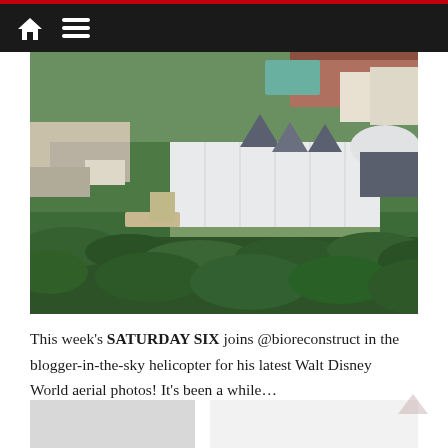Navigation bar with home icon and menu icon
[Figure (photo): Aerial photograph of Walt Disney World resort area showing large white rectangular building structures surrounded by trees, with resort hotel buildings visible in the background]
This week's SATURDAY SIX joins @bioreconstruct in the blogger-in-the-sky helicopter for his latest Walt Disney World aerial photos! It's been a while…
[Figure (photo): Partial bottom images cut off at page edge]